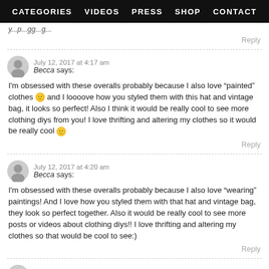CATEGORIES   VIDEOS   PRESS   SHOP   CONTACT
y...p...gg...g...
Reply
July 12, 2017 at 4:17 am
Becca says:
I'm obsessed with these overalls probably because I also love “painted” clothes 🙂 and I loooove how you styled them with this hat and vintage bag, it looks so perfect! Also I think it would be really cool to see more clothing diys from you! I love thrifting and altering my clothes so it would be really cool 🙂
Reply
July 12, 2017 at 4:20 am
Becca says:
I'm obsessed with these overalls probably because I also love “wearing” paintings! And I love how you styled them with that hat and vintage bag, they look so perfect together. Also it would be really cool to see more posts or videos about clothing diys!! I love thrifting and altering my clothes so that would be cool to see:)
Reply
July 12, 2017 at 8:00 am